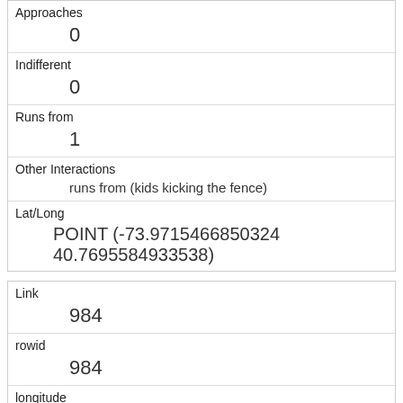| Approaches | 0 |
| Indifferent | 0 |
| Runs from | 1 |
| Other Interactions | runs from (kids kicking the fence) |
| Lat/Long | POINT (-73.9715466850324 40.7695584933538) |
| Link | 984 |
| rowid | 984 |
| longitude | -73.9672950266018 |
| latitude | 40.7782477517567 |
| Unique Squirrel ID | 17E-PM-1020-01 |